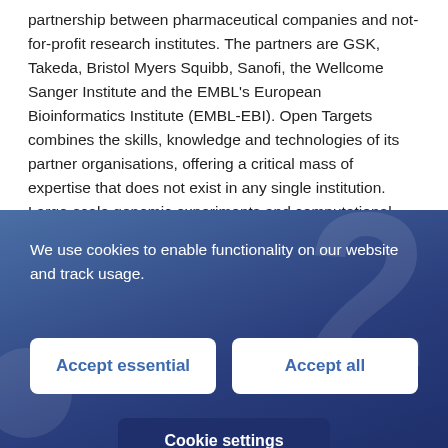partnership between pharmaceutical companies and not-for-profit research institutes. The partners are GSK, Takeda, Bristol Myers Squibb, Sanofi, the Wellcome Sanger Institute and the EMBL's European Bioinformatics Institute (EMBL-EBI). Open Targets combines the skills, knowledge and technologies of its partner organisations, offering a critical mass of expertise that does not exist in any single institution. Large-scale genomic experiments and computational techniques developed in the public domain are blended with
We use cookies to enable functionality on our website and track usage.
Accept essential
Accept all
Cookie settings